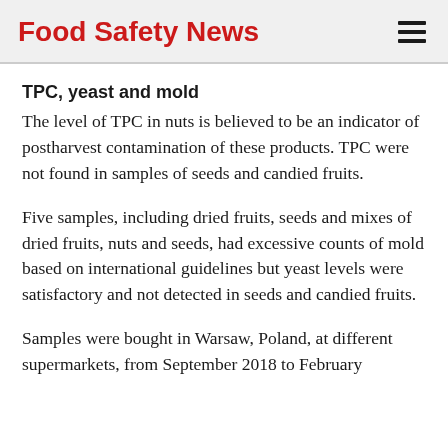Food Safety News
TPC, yeast and mold
The level of TPC in nuts is believed to be an indicator of postharvest contamination of these products. TPC were not found in samples of seeds and candied fruits.
Five samples, including dried fruits, seeds and mixes of dried fruits, nuts and seeds, had excessive counts of mold based on international guidelines but yeast levels were satisfactory and not detected in seeds and candied fruits.
Samples were bought in Warsaw, Poland, at different supermarkets, from September 2018 to February